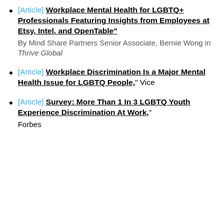[Article] Workplace Mental Health for LGBTQ+ Professionals Featuring Insights from Employees at Etsy, Intel, and OpenTable" By Mind Share Partners Senior Associate, Bernie Wong in Thrive Global
[Article] Workplace Discrimination Is a Major Mental Health Issue for LGBTQ People," Vice
[Article] Survey: More Than 1 In 3 LGBTQ Youth Experience Discrimination At Work," Forbes